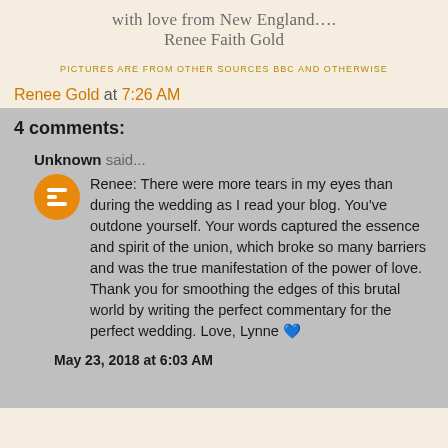with love from New England….
Renee Faith Gold
PICTURES ARE FROM OTHER SOURCES BBC AND OTHERWISE
Renee Gold at 7:26 AM
4 comments:
Unknown said...
Renee: There were more tears in my eyes than during the wedding as I read your blog. You've outdone yourself. Your words captured the essence and spirit of the union, which broke so many barriers and was the true manifestation of the power of love. Thank you for smoothing the edges of this brutal world by writing the perfect commentary for the perfect wedding. Love, Lynne 💙
May 23, 2018 at 6:03 AM